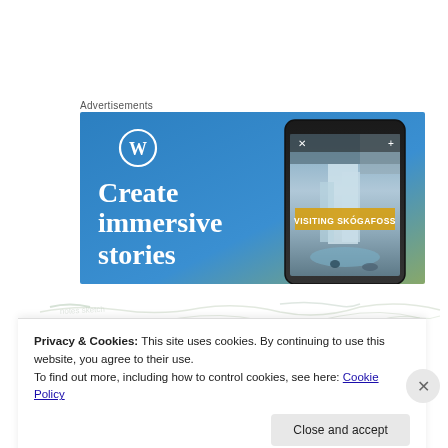Advertisements
[Figure (illustration): WordPress advertisement banner with blue gradient background showing WordPress logo (W in circle), text 'Create immersive stories' in white serif font, and a smartphone displaying a waterfall photo labeled 'VISITING SKOGAFOSS']
[Figure (photo): Faint handwritten or sketched content partially visible behind cookie consent overlay]
Privacy & Cookies: This site uses cookies. By continuing to use this website, you agree to their use.
To find out more, including how to control cookies, see here: Cookie Policy
Close and accept